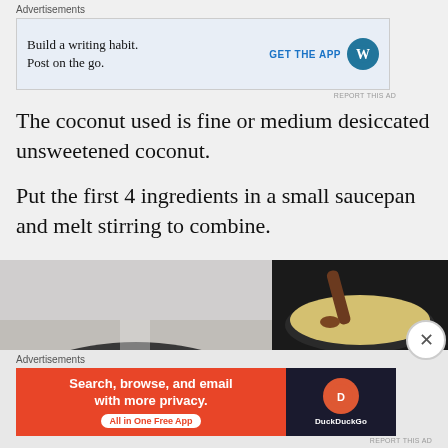Advertisements
[Figure (screenshot): WordPress app advertisement: 'Build a writing habit. Post on the go.' with GET THE APP button and WordPress logo]
The coconut used is fine or medium desiccated unsweetened coconut.
Put the first 4 ingredients in a small saucepan and melt stirring to combine.
[Figure (photo): Three photos showing cooking steps: left large photo shows white ingredients (sugar, butter) in a dark saucepan; top right shows melted mixture with a wooden spoon; bottom right shows smooth combined mixture.]
Advertisements
[Figure (screenshot): DuckDuckGo advertisement: 'Search, browse, and email with more privacy. All in One Free App' on orange background with DuckDuckGo logo on dark background]